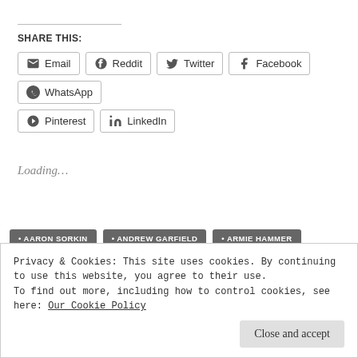SHARE THIS:
Email | Reddit | Twitter | Facebook | WhatsApp | Pinterest | LinkedIn
Loading...
AARON SORKIN
ANDREW GARFIELD
ARMIE HAMMER
DAVID FINCHER
JESSE EISENBERG
JUSTIN TIMBERLAKE
Privacy & Cookies: This site uses cookies. By continuing to use this website, you agree to their use. To find out more, including how to control cookies, see here: Our Cookie Policy